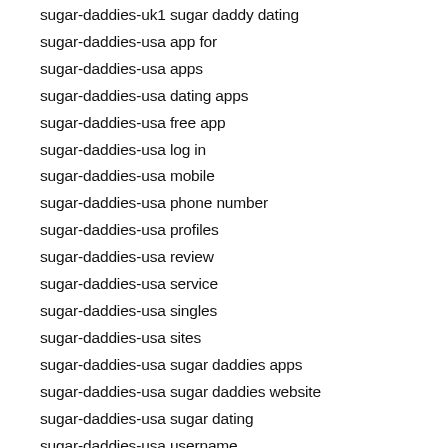sugar-daddies-uk1 sugar daddy dating
sugar-daddies-usa app for
sugar-daddies-usa apps
sugar-daddies-usa dating apps
sugar-daddies-usa free app
sugar-daddies-usa log in
sugar-daddies-usa mobile
sugar-daddies-usa phone number
sugar-daddies-usa profiles
sugar-daddies-usa review
sugar-daddies-usa service
sugar-daddies-usa singles
sugar-daddies-usa sites
sugar-daddies-usa sugar daddies apps
sugar-daddies-usa sugar daddies website
sugar-daddies-usa sugar dating
sugar-daddies-usa username
sugar-daddies-usa+az+phoenix sugar daddy websites